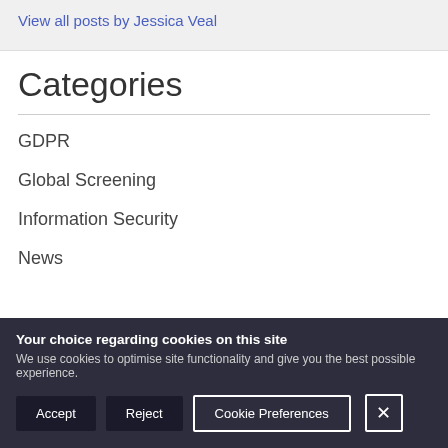View all posts by Jessica Veal
Categories
GDPR
Global Screening
Information Security
News
Your choice regarding cookies on this site
We use cookies to optimise site functionality and give you the best possible experience.
Accept  Reject  Cookie Preferences  X